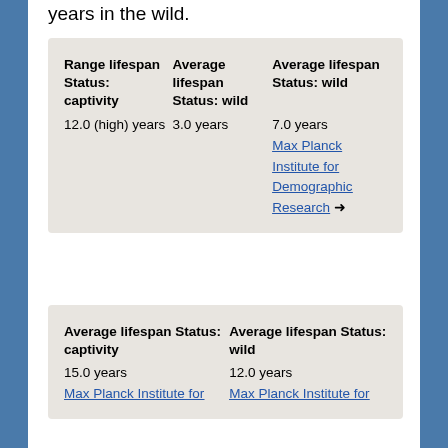years in the wild.
| Range lifespan Status: captivity | Average lifespan Status: wild | Average lifespan Status: wild |
| --- | --- | --- |
| 12.0 (high) years | 3.0 years | 7.0 years Max Planck Institute for Demographic Research → |
| Average lifespan Status: captivity | Average lifespan Status: wild |
| --- | --- |
| 15.0 years Max Planck Institute for | 12.0 years Max Planck Institute for |